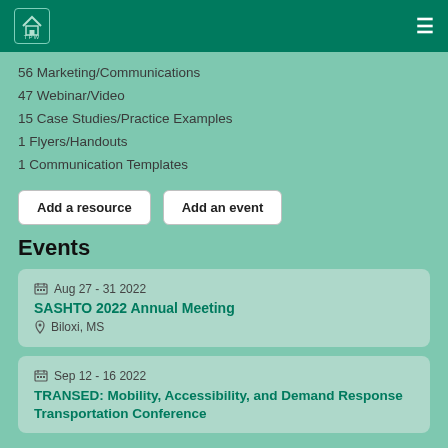TPW
56 Marketing/Communications
47 Webinar/Video
15 Case Studies/Practice Examples
1 Flyers/Handouts
1 Communication Templates
Add a resource | Add an event
Events
Aug 27 - 31 2022 | SASHTO 2022 Annual Meeting | Biloxi, MS
Sep 12 - 16 2022 | TRANSED: Mobility, Accessibility, and Demand Response Transportation Conference